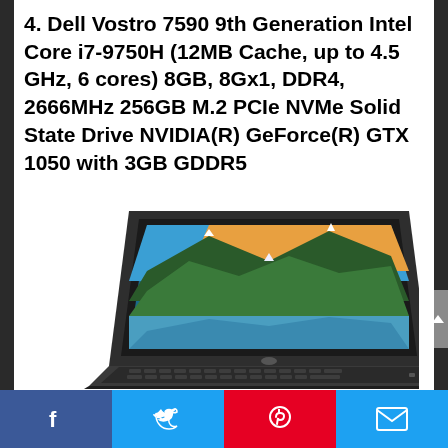4. Dell Vostro 7590 9th Generation Intel Core i7-9750H (12MB Cache, up to 4.5 GHz, 6 cores) 8GB, 8Gx1, DDR4, 2666MHz 256GB M.2 PCIe NVMe Solid State Drive NVIDIA(R) GeForce(R) GTX 1050 with 3GB GDDR5
[Figure (photo): Dell Vostro 7590 laptop shown in a three-quarter angled view, displaying a mountain lake landscape on screen, with a black chassis and keyboard visible.]
Facebook | Twitter | Pinterest | Email